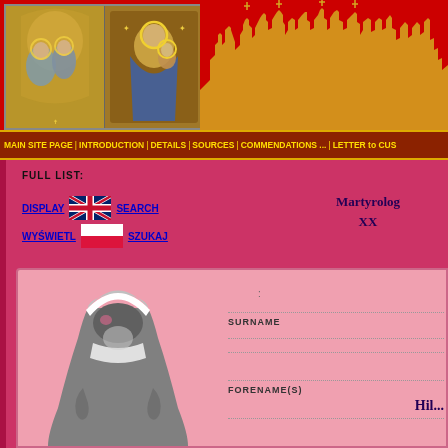[Figure (photo): Religious icons banner with two Madonna images on red background with golden cityscape/church skyline silhouette]
MAIN SITE PAGE | INTRODUCTION | DETAILS | SOURCES | COMMENDATIONS ... | LETTER to CUS
FULL LIST:
DISPLAY  SEARCH
WYŚWIETL  SZUKAJ
Martyrolog XX
[Figure (illustration): Silhouette of a nun in grey habit and white wimple]
SURNAME
FORENAME(S)
HIL...